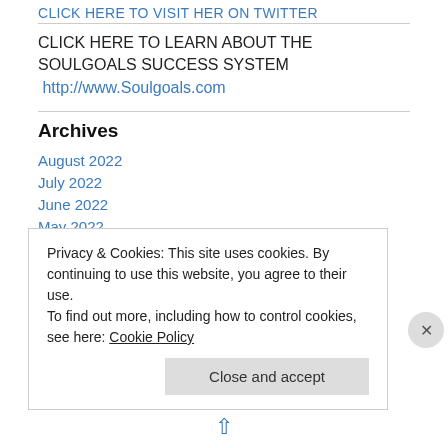CLICK HERE TO VISIT HER ON TWITTER
CLICK HERE TO LEARN ABOUT THE SOULGOALS SUCCESS SYSTEM  http://www.Soulgoals.com
Archives
August 2022
July 2022
June 2022
May 2022
April 2022
March 2022
Privacy & Cookies: This site uses cookies. By continuing to use this website, you agree to their use.
To find out more, including how to control cookies, see here: Cookie Policy
Close and accept